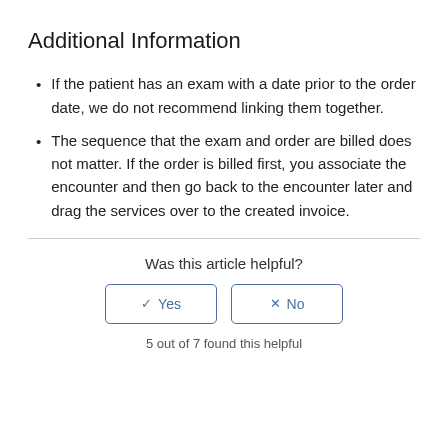Additional Information
If the patient has an exam with a date prior to the order date, we do not recommend linking them together.
The sequence that the exam and order are billed does not matter. If the order is billed first, you associate the encounter and then go back to the encounter later and drag the services over to the created invoice.
Was this article helpful?
5 out of 7 found this helpful